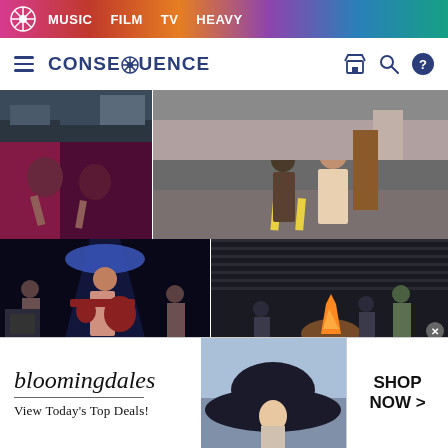MUSIC  FILM  TV  HEAVY
CONSEQUENCE
[Figure (photo): Dark photo - building exterior or stage]
[Figure (photo): Two musicians playing saxophone on stage with red/pink lighting]
[Figure (photo): Street scene - couple walking, woman in floral dress, food truck market]
[Figure (photo): Female guitarist on stage with blue spotlight, band performing]
[Figure (photo): Indoor scene with people around fire or warm light]
[Figure (photo): Partial concert/event photo]
[Figure (photo): Partial dark photo]
[Figure (photo): Bloomingdale's advertisement - woman with large hat, View Today's Top Deals, SHOP NOW]
bloomingdales
View Today's Top Deals!
SHOP NOW >